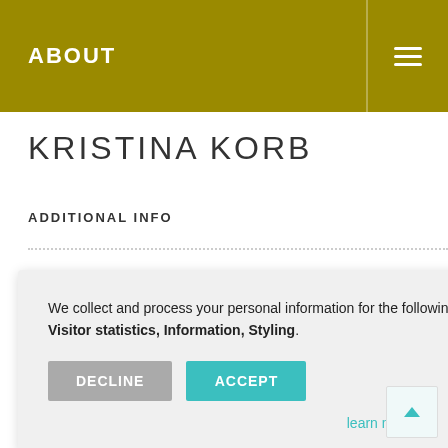ABOUT
KRISTINA KORB
ADDITIONAL INFO
We collect and process your personal information for the following purposes: Service for registered users, Visitor statistics, Information, Styling.
DECLINE  ACCEPT
learn more ...
...g premier mercial & strategies cing the years of experience in the photography and film field